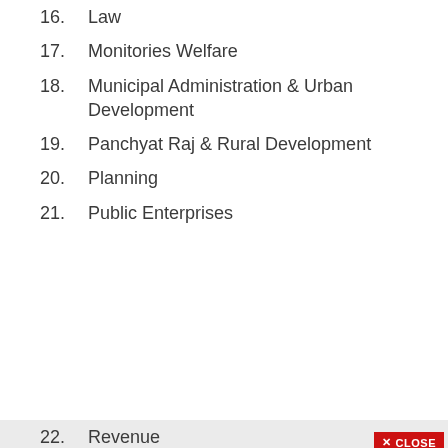16. Law
17. Monitories Welfare
18. Municipal Administration & Urban Development
19. Panchyat Raj & Rural Development
20. Planning
21. Public Enterprises
22. Revenue